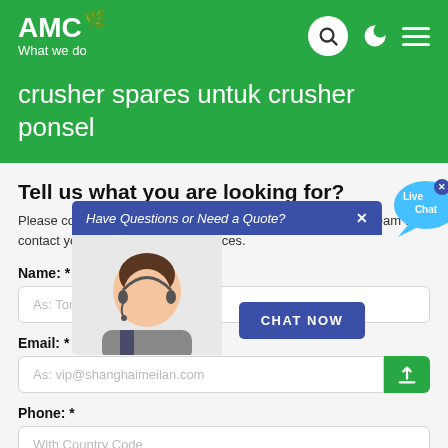AMC What we do
crusher spares untuk crusher ponsel
Tell us what you are looking for?
Please complete and submit the following form and our sales team will contact you shortly with our best prices.
Name: *
As: Tom
Email: *
As: vip@shanghaimeilan.com
Phone: *
With Country Code
[Figure (screenshot): Live chat popup overlay with customer service representative image and 'CHAT NOW' button. Blue banner reads 'Have Questions or Need a Quote?' with a close X. A 'Live Chat' speech bubble appears top right. Below is a photo of a woman with headset.]